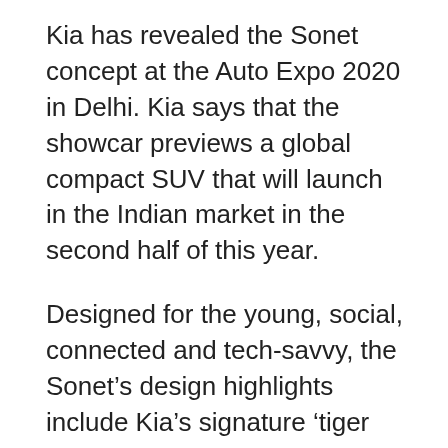Kia has revealed the Sonet concept at the Auto Expo 2020 in Delhi. Kia says that the showcar previews a global compact SUV that will launch in the Indian market in the second half of this year.
Designed for the young, social, connected and tech-savvy, the Sonet's design highlights include Kia's signature 'tiger nose' grille, stepwell geometry within the grille mesh, 'tiger eyeline' LED daytime running lights, and full-width rear signature lighting. There are also red accent strips at the front, rear, sides and wheels.
Kia says that cabin highlights include a 10.25-inch infotainment and navigation system with UVO Connect, a Bose premium audio system, and an